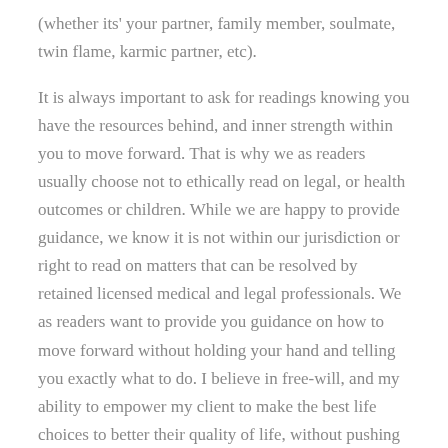(whether its' your partner, family member, soulmate, twin flame, karmic partner, etc).
It is always important to ask for readings knowing you have the resources behind, and inner strength within you to move forward. That is why we as readers usually choose not to ethically read on legal, or health outcomes or children. While we are happy to provide guidance, we know it is not within our jurisdiction or right to read on matters that can be resolved by retained licensed medical and legal professionals. We as readers want to provide you guidance on how to move forward without holding your hand and telling you exactly what to do. I believe in free-will, and my ability to empower my client to make the best life choices to better their quality of life, without pushing them into a specific direction against their best judgement. As readers, our gifts are meant to help you